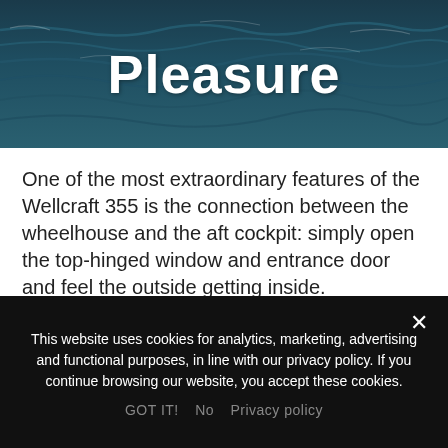[Figure (photo): Ocean waves with dark teal/blue water, with bold white text 'Pleasure' overlaid in the center]
Pleasure
One of the most extraordinary features of the Wellcraft 355 is the connection between the wheelhouse and the aft cockpit: simply open the top-hinged window and entrance door and feel the outside getting inside.
Find the real luxury feeling of the Wellcraft 355 stepping down in the spacious front cabin with a fullsize
bed and ensuite bathroom with separate shower
This website uses cookies for analytics, marketing, advertising and functional purposes, in line with our privacy policy. If you continue browsing our website, you accept these cookies.
GOT IT!  No  Privacy policy